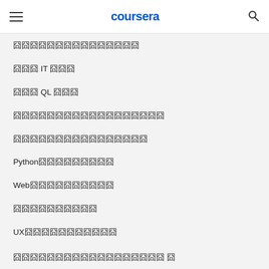coursera
囧囧囧囧囧囧囧囧囧囧囧囧囧囧囧
囧囧囧 IT 囧囧囧
囧囧囧 QL 囧囧囧
囧囧囧囧囧囧囧囧囧囧囧囧囧囧囧囧囧囧
囧囧囧囧囧囧囧囧囧囧囧囧囧囧囧囧
Python囧囧囧囧囧囧囧囧囧
Web囧囧囧囧囧囧囧囧囧囧
囧囧囧囧囧囧囧囧囧囧
UX囧囧囧囧囧囧囧囧囧囧囧
囧囧囧囧囧囧囧囧囧囧囧囧囧囧囧囧囧囧 囧